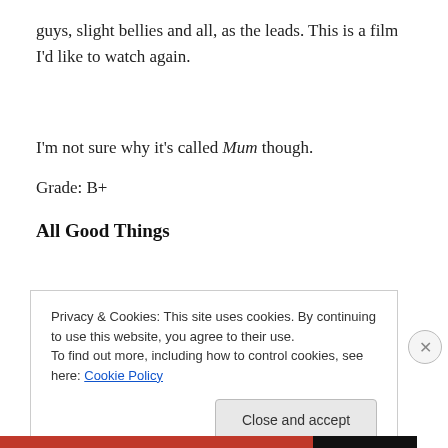guys, slight bellies and all, as the leads. This is a film I'd like to watch again.
I'm not sure why it's called Mum though.
Grade: B+
All Good Things
Privacy & Cookies: This site uses cookies. By continuing to use this website, you agree to their use.
To find out more, including how to control cookies, see here: Cookie Policy
Close and accept